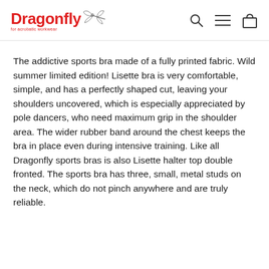Dragonfly — for acrobatic workwear
The addictive sports bra made of a fully printed fabric. Wild summer limited edition! Lisette bra is very comfortable, simple, and has a perfectly shaped cut, leaving your shoulders uncovered, which is especially appreciated by pole dancers, who need maximum grip in the shoulder area. The wider rubber band around the chest keeps the bra in place even during intensive training. Like all Dragonfly sports bras is also Lisette halter top double fronted. The sports bra has three, small, metal studs on the neck, which do not pinch anywhere and are truly reliable.